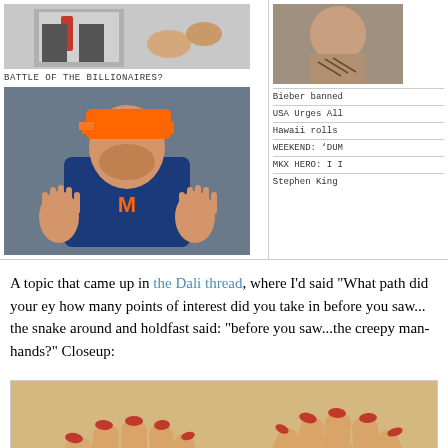[Figure (photo): Top left: partial photo of a man in a suit with red tie, and hands visible. Below: photo of a baseball player in NY Mets navy shirt and orange cap with hands raised.]
BATTLE OF THE BILLIONAIRES?
[Figure (photo): Top right sidebar: partial photo of a person with tattoos.]
Bieber banned
USA Urges All
Hawaii rolls
WEEKEND: 'DUM
MKX HERO: I I
Stephen King
A topic that came up in the Dali thread, where I'd said "What path did your ey how many points of interest did you take in before you saw... the snake around and holdfast said: "before you saw...the creepy man-hands?" Closeup:
[Figure (photo): Closeup of a Dali painting showing hands with red-painted fingernails, crossed arms, a snake bracelet/chain around the wrists, and a ring on one finger. The skin tones are warm/golden.]